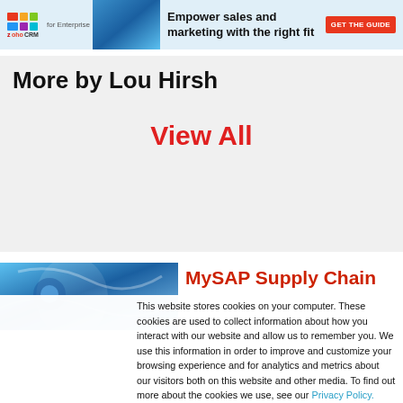[Figure (screenshot): Advertisement banner with zoho CRM for Enterprise logo and blue graphic, tagline 'Empower sales and marketing with the right fit', red GET THE GUIDE button]
More by Lou Hirsh
View All
[Figure (photo): Blue abstract tech/supply chain image on left side]
MySAP Supply Chain
This website stores cookies on your computer. These cookies are used to collect information about how you interact with our website and allow us to remember you. We use this information in order to improve and customize your browsing experience and for analytics and metrics about our visitors both on this website and other media. To find out more about the cookies we use, see our Privacy Policy. California residents have the right to direct us not to sell their personal information to third parties by filing an Opt-Out Request: Do Not Sell My Personal Info.
Accept